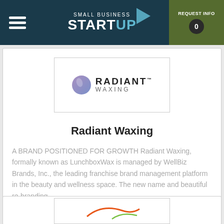SMALL BUSINESS STARTUP | REQUEST INFO 0
[Figure (logo): Radiant Waxing logo with purple circle and brand name]
Radiant Waxing
A BRAND POSITIONED FOR GROWTH Radiant Waxing, formally known as LunchboxWax is managed by WellBiz Brands, Inc., the leading franchise brand management platform in the beauty and wellness space. The new name and beautiful re-branding...
$100,000 MIN CASH REQUIRED
+ Submit Info Request